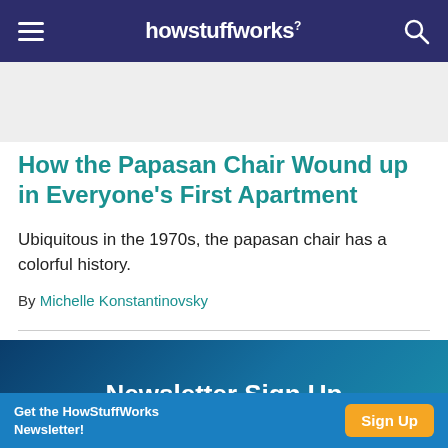howstuffworks
How the Papasan Chair Wound up in Everyone's First Apartment
Ubiquitous in the 1970s, the papasan chair has a colorful history.
By Michelle Konstantinovsky
Newsletter Sign Up
Get the HowStuffWorks Newsletter!